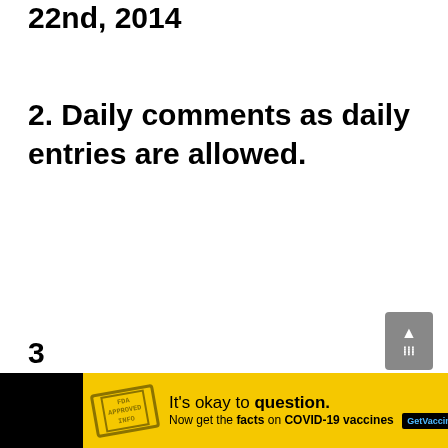22nd, 2014
2. Daily comments as daily entries are allowed.
[Figure (screenshot): Yellow advertisement banner for COVID-19 vaccine information website GetVaccineAnswers.org with a stamp graphic, text 'It's okay to question. Now get the facts on COVID-19 vaccines' and a close button]
3